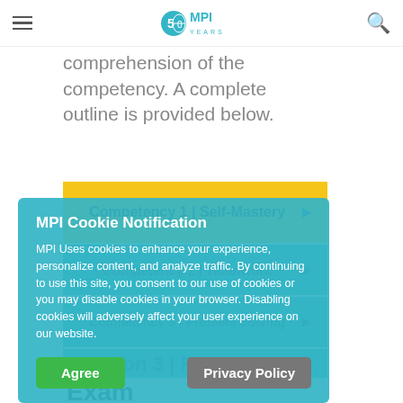MPI 50 Years logo navigation bar
comprehension of the competency. A complete outline is provided below.
Competency 1 | Self-Mastery
Competency 2 | Teamwork
Competency 3 | Problem Solving
Section 3 | Final Exam
MPI Cookie Notification

MPI Uses cookies to enhance your experience, personalize content, and analyze traffic. By continuing to use this site, you consent to our use of cookies or you may disable cookies in your browser. Disabling cookies will adversely affect your user experience on our website.

[Agree] [Privacy Policy]